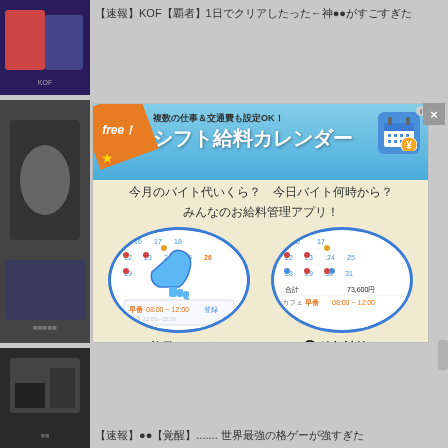[Figure (screenshot): Top row: game screenshot thumbnail with Japanese text about KOF game]
【速報】KOF【覇者】1日でクリアしたった←神●●がすごすぎた
[Figure (infographic): Advertisement for シフト給料カレンダー (Shift Salary Calendar) app with blue gradient header, free badge, calendar icons, handwritten Japanese text, and two circular app preview screenshots showing shift registration and salary calculation features]
[Figure (screenshot): Bottom row: dark screenshot thumbnail with Japanese text about a topic]
【速報】●●【覚醒】....... 世界最強の格ゲーが強すぎた